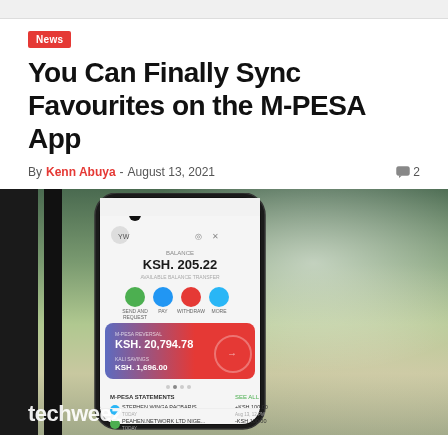News
You Can Finally Sync Favourites on the M-PESA App
By Kenn Abuya - August 13, 2021   2
[Figure (photo): A smartphone displaying the M-PESA app interface showing balance KSH. 205.22, M-PESA statements, and transaction history including KSH. 20,794.78. The phone is standing on a windowsill with a blurred outdoor background. The Techweez watermark appears at bottom left.]